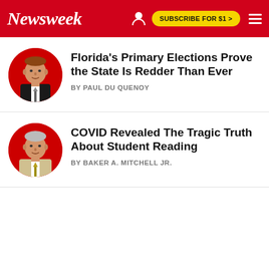Newsweek | SUBSCRIBE FOR $1 >
[Figure (photo): Circular headshot of man in suit against red background]
Florida's Primary Elections Prove the State Is Redder Than Ever
BY PAUL DU QUENOY
[Figure (photo): Circular headshot of man in light suit against red background]
COVID Revealed The Tragic Truth About Student Reading
BY BAKER A. MITCHELL JR.